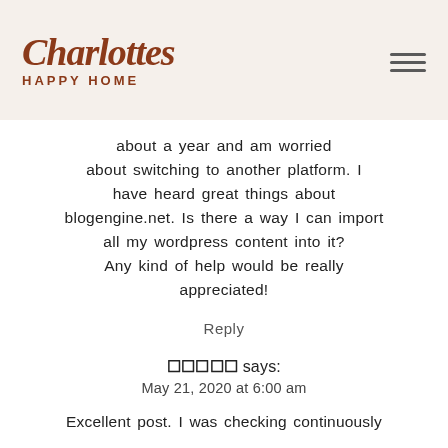Charlottes HAPPY HOME
about a year and am worried about switching to another platform. I have heard great things about blogengine.net. Is there a way I can import all my wordpress content into it? Any kind of help would be really appreciated!
Reply
☐☐☐☐☐ says:
May 21, 2020 at 6:00 am
Excellent post. I was checking continuously